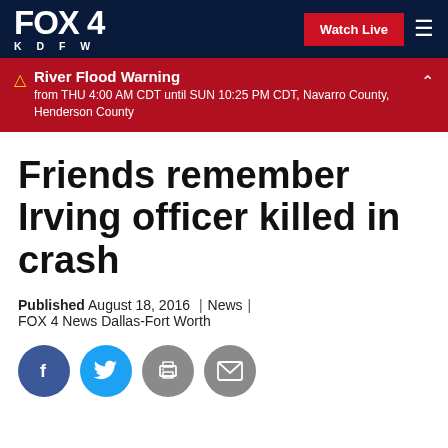FOX 4 KDFW — Watch Live
River Flood Warning
from THU 4:00 AM CDT until SUN 10:25 PM CDT, Navarro County, Henderson County
Friends remember Irving officer killed in crash
Published August 18, 2016  |  News  |  FOX 4 News Dallas-Fort Worth
[Figure (other): Social sharing icons: Facebook, Twitter, Print, Email]